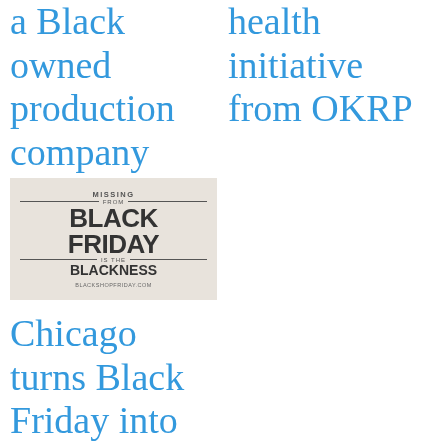a Black owned production company
health initiative from OKRP
[Figure (photo): An image with text reading 'MISSING FROM BLACK FRIDAY IS THE BLACKNESS' with website blackshopfriday.com]
Chicago turns Black Friday into Black Shop Friday